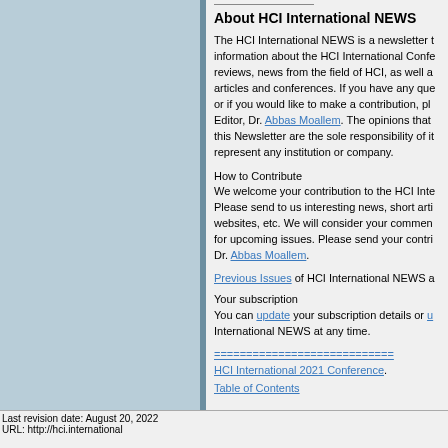About HCI International NEWS
The HCI International NEWS is a newsletter that provides information about the HCI International Conference, book reviews, news from the field of HCI, as well as related articles and conferences. If you have any questions, or if you would like to make a contribution, please contact the Editor, Dr. Abbas Moallem. The opinions that appear in this Newsletter are the sole responsibility of its authors and represent any institution or company.
How to Contribute
We welcome your contribution to the HCI International NEWS. Please send to us interesting news, short articles, links to websites, etc. We will consider your comments and articles for upcoming issues. Please send your contributions to Dr. Abbas Moallem.
Previous Issues of HCI International NEWS a
Your subscription
You can update your subscription details or u HCI International NEWS at any time.
============================
HCI International 2021 Conference.
Table of Contents
Last revision date: August 20, 2022
URL: http://hci.international